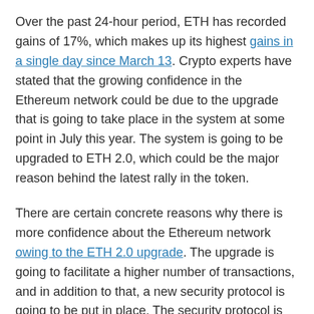Over the past 24-hour period, ETH has recorded gains of 17%, which makes up its highest gains in a single day since March 13. Crypto experts have stated that the growing confidence in the Ethereum network could be due to the upgrade that is going to take place in the system at some point in July this year. The system is going to be upgraded to ETH 2.0, which could be the major reason behind the latest rally in the token.
There are certain concrete reasons why there is more confidence about the Ethereum network owing to the ETH 2.0 upgrade. The upgrade is going to facilitate a higher number of transactions, and in addition to that, a new security protocol is going to be put in place. The security protocol is known as proof of stake or PoS. It is interesting to note that this particular upgrade to the network has been in the works since as far back as 2015.